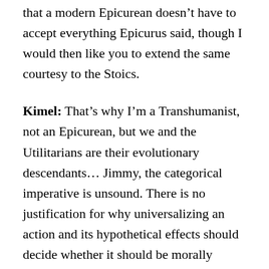that a modern Epicurean doesn't have to accept everything Epicurus said, though I would then like you to extend the same courtesy to the Stoics.
Kimel: That's why I'm a Transhumanist, not an Epicurean, but we and the Utilitarians are their evolutionary descendants… Jimmy, the categorical imperative is unsound. There is no justification for why universalizing an action and its hypothetical effects should decide whether it should be morally permissible to me as an individual. It's based on the intuition that it's bad to make moral exceptions for ourselves, but as a general formula for deciding on an